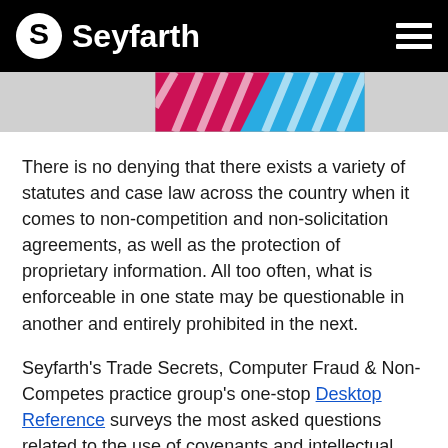Seyfarth
[Figure (illustration): Decorative banner image with pink/magenta and blue diagonal stripe pattern on a light gray background]
There is no denying that there exists a variety of statutes and case law across the country when it comes to non-competition and non-solicitation agreements, as well as the protection of proprietary information. All too often, what is enforceable in one state may be questionable in another and entirely prohibited in the next.
Seyfarth's Trade Secrets, Computer Fraud & Non-Competes practice group's one-stop Desktop Reference surveys the most asked questions related to the use of covenants and intellectual